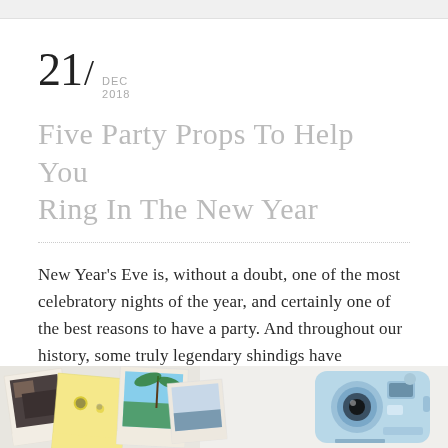21/ DEC 2018
Five Party Props To Help You Ring In The New Year
New Year's Eve is, without a doubt, one of the most celebratory nights of the year, and certainly one of the best reasons to have a party. And throughout our history, some truly legendary shindigs have happened as we all move from one year to the next. If we're being [...]
[Figure (photo): Photograph strip showing Instax/polaroid photos and a light blue Instax Mini camera on a white surface]